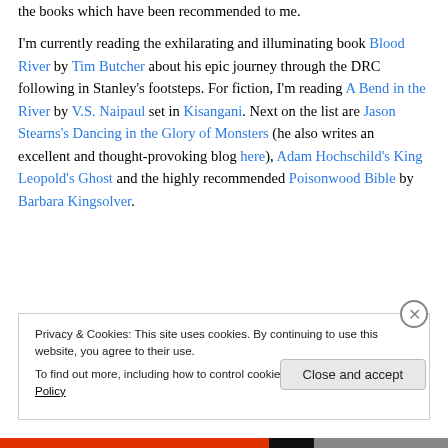the books which have been recommended to me.
I'm currently reading the exhilarating and illuminating book Blood River by Tim Butcher about his epic journey through the DRC following in Stanley's footsteps. For fiction, I'm reading A Bend in the River by V.S. Naipaul set in Kisangani. Next on the list are Jason Stearns's Dancing in the Glory of Monsters (he also writes an excellent and thought-provoking blog here), Adam Hochschild's King Leopold's Ghost and the highly recommended Poisonwood Bible by Barbara Kingsolver.
Privacy & Cookies: This site uses cookies. By continuing to use this website, you agree to their use.
To find out more, including how to control cookies, see here: Cookie Policy
Close and accept